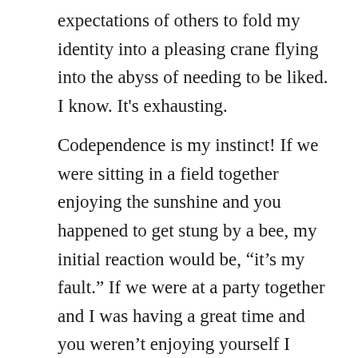expectations of others to fold my identity into a pleasing crane flying into the abyss of needing to be liked. I know. It's exhausting.
Codependence is my instinct! If we were sitting in a field together enjoying the sunshine and you happened to get stung by a bee, my initial reaction would be, “it’s my fault.” If we were at a party together and I was having a great time and you weren’t enjoying yourself I would feel like we had to leave. Your being happy is crucial to my being happy because I can’t be happy if you’re not happy so it really doesn’t even matter at all if what we’re doing is making me happy if you’re not happy so we might as well just do whatever makes you happy so we can both be happy because now you’re happy. Get it!?